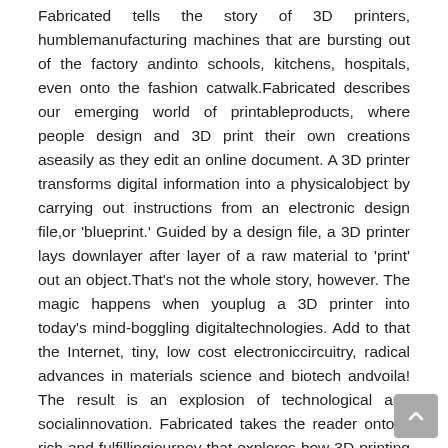Fabricated tells the story of 3D printers, humblemanufacturing machines that are bursting out of the factory andinto schools, kitchens, hospitals, even onto the fashion catwalk.Fabricated describes our emerging world of printableproducts, where people design and 3D print their own creations aseasily as they edit an online document. A 3D printer transforms digital information into a physicalobject by carrying out instructions from an electronic design file,or 'blueprint.' Guided by a design file, a 3D printer lays downlayer after layer of a raw material to 'print' out an object.That's not the whole story, however. The magic happens when youplug a 3D printer into today's mind-boggling digitaltechnologies. Add to that the Internet, tiny, low cost electroniccircuitry, radical advances in materials science and biotech andvoila! The result is an explosion of technological and socialinnovation. Fabricated takes the reader onto a rich and fulfillingjourney that explores how 3D printing is poised to impact nearlyevery part of our lives. At schools, students learn to design and...